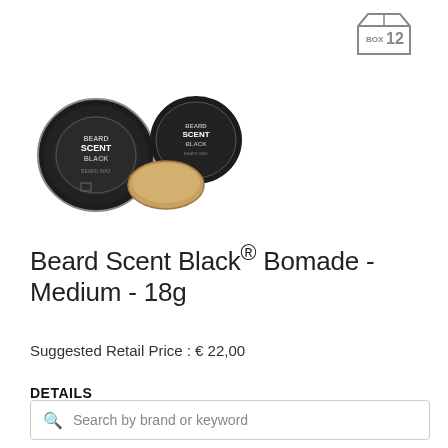[Figure (logo): Box of 12 logo — a cube/box icon with text BOX and number 12]
[Figure (photo): Two Beard Scent Black Bomade product images: one closed tin viewed from top (dark tin with label), one open tin showing golden balm product with lid beside it]
Beard Scent Black® Bomade -  Medium - 18g
Suggested Retail Price : € 22,00
DETAILS
Search by brand or keyword